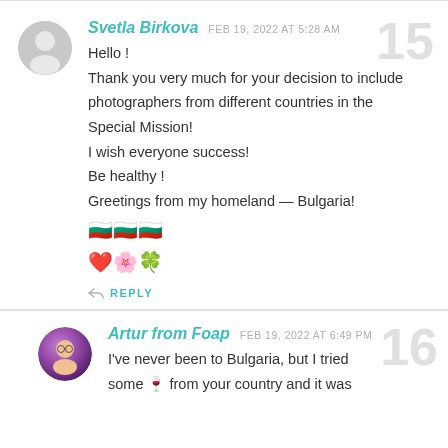Svetla Birkova — FEB 19, 2022 AT 5:28 AM — comment 15
Hello !
Thank you very much for your decision to include photographers from different countries in the Special Mission!
I wish everyone success!
Be healthy !
Greetings from my homeland — Bulgaria!
🇧🇬🇧🇬🇧🇬
❤️🌸🍀
REPLY
Artur from Foap — FEB 19, 2022 AT 6:49 PM — comment 16
I've never been to Bulgaria, but I tried some 🍷 from your country and it was